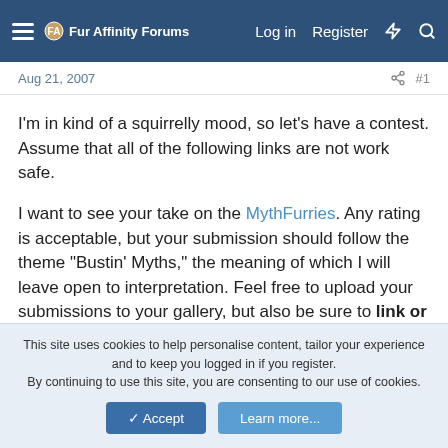Fur Affinity Forums | Log in | Register
Aug 21, 2007  #1
I'm in kind of a squirrelly mood, so let's have a contest. Assume that all of the following links are not work safe.
I want to see your take on the MythFurries. Any rating is acceptable, but your submission should follow the theme "Bustin' Myths," the meaning of which I will leave open to interpretation. Feel free to upload your submissions to your gallery, but also be sure to link or upload them in this thread. If you don't, odds are I may forget the location and won't be able to put it up in the final vote.
There is no limit to the amount of people that can participate, but
This site uses cookies to help personalise content, tailor your experience and to keep you logged in if you register.
By continuing to use this site, you are consenting to our use of cookies.